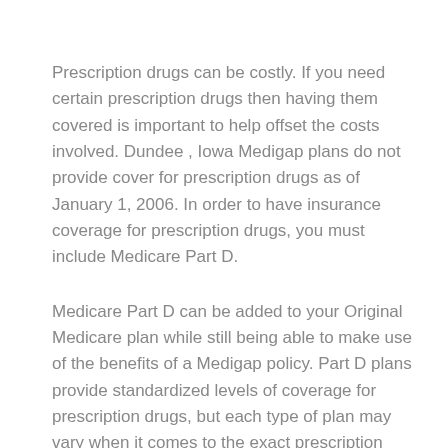Prescription drugs can be costly. If you need certain prescription drugs then having them covered is important to help offset the costs involved. Dundee , Iowa Medigap plans do not provide cover for prescription drugs as of January 1, 2006. In order to have insurance coverage for prescription drugs, you must include Medicare Part D.
Medicare Part D can be added to your Original Medicare plan while still being able to make use of the benefits of a Medigap policy. Part D plans provide standardized levels of coverage for prescription drugs, but each type of plan may vary when it comes to the exact prescription drugs that they cover, also known as a “formulary”